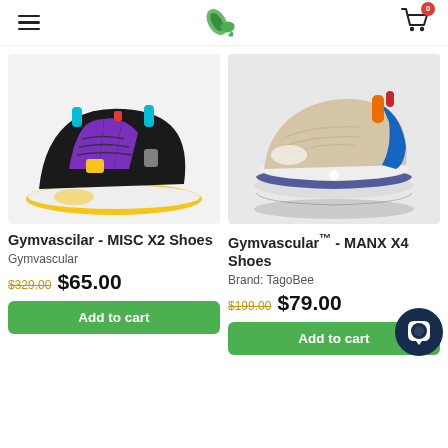Navigation header with hamburger menu, logo, and cart icon (0 items)
[Figure (photo): Gymvascilar - MISC X2 Shoes: black sneaker with purple, yellow, cyan accents and chunky white/yellow sole]
Gymvascilar - MISC X2 Shoes
Gymvascular
$329.00 $65.00
Add to cart
[Figure (photo): Gymvascular™ - MANX X4 Shoes: beige/white sneaker with blue, orange, red accents and futuristic chunky sole with reflection]
Gymvascular™ - MANX X4 Shoes
Brand: TagoBee
$199.00 $79.00
Add to cart